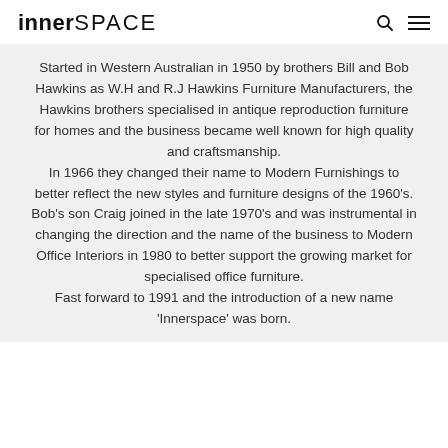innerSPACE
Started in Western Australian in 1950 by brothers Bill and Bob Hawkins as W.H and R.J Hawkins Furniture Manufacturers, the Hawkins brothers specialised in antique reproduction furniture for homes and the business became well known for high quality and craftsmanship.
In 1966 they changed their name to Modern Furnishings to better reflect the new styles and furniture designs of the 1960's.
Bob's son Craig joined in the late 1970's and was instrumental in changing the direction and the name of the business to Modern Office Interiors in 1980 to better support the growing market for specialised office furniture.
Fast forward to 1991 and the introduction of a new name 'Innerspace' was born.